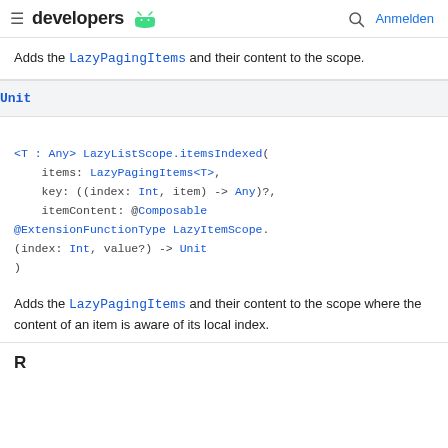developers   Anmelden
Adds the LazyPagingItems and their content to the scope.
Unit
<T : Any> LazyListScope.itemsIndexed(
    items: LazyPagingItems<T>,
    key: ((index: Int, item) -> Any)?,
    itemContent: @Composable
@ExtensionFunctionType LazyItemScope.
(index: Int, value?) -> Unit
)
Adds the LazyPagingItems and their content to the scope where the content of an item is aware of its local index.